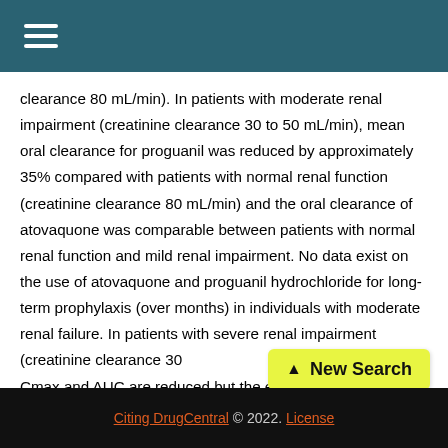≡ (menu icon)
clearance 80 mL/min). In patients with moderate renal impairment (creatinine clearance 30 to 50 mL/min), mean oral clearance for proguanil was reduced by approximately 35% compared with patients with normal renal function (creatinine clearance 80 mL/min) and the oral clearance of atovaquone was comparable between patients with normal renal function and mild renal impairment. No data exist on the use of atovaquone and proguanil hydrochloride for long-term prophylaxis (over months) in individuals with moderate renal failure. In patients with severe renal impairment (creatinine clearance 30 Cmax and AUC are reduced but the elimination half-lives
[Figure (other): New Search button badge with arrow icon in yellow-green background]
Citing DrugCentral © 2022. License